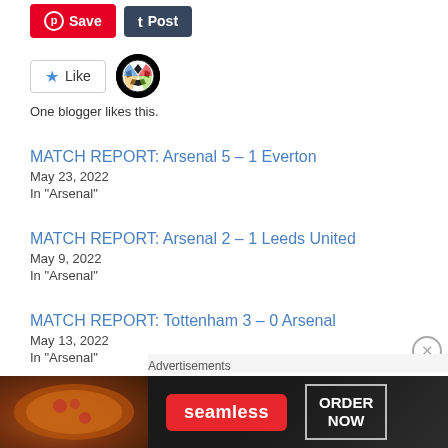[Figure (screenshot): Social share buttons: red Pinterest Save button and dark Tumblr Post button]
[Figure (screenshot): Like button with star icon and soccer ball blogger avatar. Text: One blogger likes this.]
One blogger likes this.
MATCH REPORT: Arsenal 5 – 1 Everton
May 23, 2022
In "Arsenal"
MATCH REPORT: Arsenal 2 – 1 Leeds United
May 9, 2022
In "Arsenal"
MATCH REPORT: Tottenham 3 – 0 Arsenal
May 13, 2022
In "Arsenal"
Advertisements
[Figure (screenshot): Seamless food delivery advertisement banner with pizza image, Seamless logo, and ORDER NOW button]